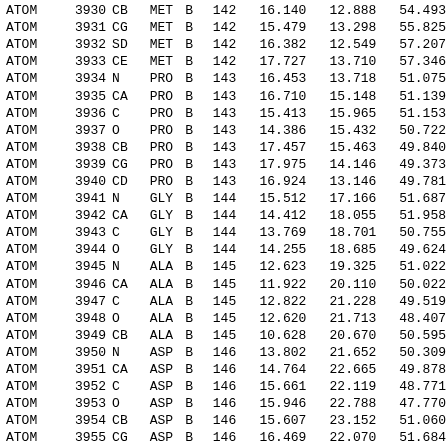| type | serial | name | res | chain | resSeq | x | y | z |
| --- | --- | --- | --- | --- | --- | --- | --- | --- |
| ATOM | 3930 | CB | MET | B | 142 | 16.140 | 12.888 | 54.493 |
| ATOM | 3931 | CG | MET | B | 142 | 15.479 | 13.298 | 55.825 |
| ATOM | 3932 | SD | MET | B | 142 | 16.382 | 12.549 | 57.207 |
| ATOM | 3933 | CE | MET | B | 142 | 17.727 | 13.710 | 57.346 |
| ATOM | 3934 | N | PRO | B | 143 | 16.453 | 13.718 | 51.075 |
| ATOM | 3935 | CA | PRO | B | 143 | 16.710 | 15.148 | 51.139 |
| ATOM | 3936 | C | PRO | B | 143 | 15.413 | 15.965 | 51.153 |
| ATOM | 3937 | O | PRO | B | 143 | 14.386 | 15.432 | 50.722 |
| ATOM | 3938 | CB | PRO | B | 143 | 17.457 | 15.463 | 49.840 |
| ATOM | 3939 | CG | PRO | B | 143 | 17.975 | 14.146 | 49.373 |
| ATOM | 3940 | CD | PRO | B | 143 | 16.924 | 13.146 | 49.781 |
| ATOM | 3941 | N | GLY | B | 144 | 15.512 | 17.166 | 51.687 |
| ATOM | 3942 | CA | GLY | B | 144 | 14.412 | 18.055 | 51.958 |
| ATOM | 3943 | C | GLY | B | 144 | 13.769 | 18.701 | 50.755 |
| ATOM | 3944 | O | GLY | B | 144 | 14.255 | 18.685 | 49.624 |
| ATOM | 3945 | N | ALA | B | 145 | 12.623 | 19.325 | 51.022 |
| ATOM | 3946 | CA | ALA | B | 145 | 11.922 | 20.110 | 50.022 |
| ATOM | 3947 | C | ALA | B | 145 | 12.822 | 21.228 | 49.519 |
| ATOM | 3948 | O | ALA | B | 145 | 12.620 | 21.713 | 48.407 |
| ATOM | 3949 | CB | ALA | B | 145 | 10.628 | 20.670 | 50.595 |
| ATOM | 3950 | N | ASP | B | 146 | 13.802 | 21.652 | 50.309 |
| ATOM | 3951 | CA | ASP | B | 146 | 14.764 | 22.665 | 49.878 |
| ATOM | 3952 | C | ASP | B | 146 | 15.661 | 22.119 | 48.771 |
| ATOM | 3953 | O | ASP | B | 146 | 15.946 | 22.788 | 47.770 |
| ATOM | 3954 | CB | ASP | B | 146 | 15.607 | 23.152 | 51.060 |
| ATOM | 3955 | CG | ASP | B | 146 | 16.469 | 22.070 | 51.684 |
| ATOM | 3956 | OD1 | ASP | B | 146 | 16.008 | 20.922 | 51.862 |
| ATOM | 3957 | OD2 | ASP | B | 146 | 17.642 | 22.370 | 51.993 |
| ATOM | 3958 | N | TYR | B | 147 | 16.109 | 20.873 | 48.961 |
| ATOM | 3959 | CA | TYR | B | 147 | 16.910 | 20.230 | 47.927 |